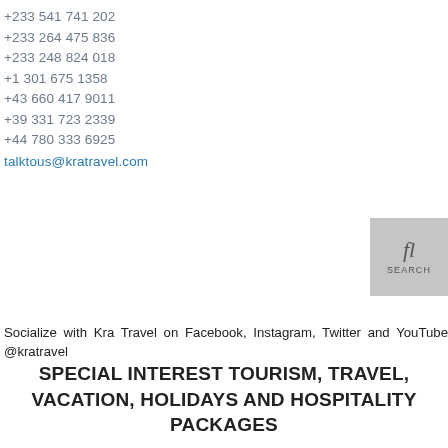+233 541 741 202
+233 264 475 836
+233 248 824 018
+1 301 675 1358
+43 660 417 9011
+39 331 723 2339
+44 780 333 6925
talktous@kratravel.com
[Figure (other): Search icon button with magnifying glass symbol and SEARCH text]
Socialize with Kra Travel on Facebook, Instagram, Twitter and YouTube @kratravel
SPECIAL INTEREST TOURISM, TRAVEL, VACATION, HOLIDAYS AND HOSPITALITY PACKAGES